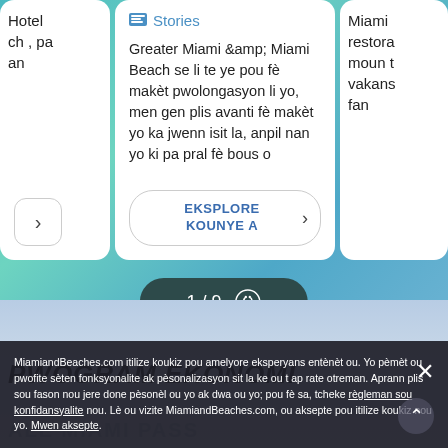[Figure (screenshot): Website carousel screenshot showing story cards for Greater Miami and Miami Beach travel content, with navigation pagination bar showing 1/9]
Stories
Greater Miami &amp; Miami Beach se li te ye pou fè makèt pwolongasyon li yo, men gen plis avanti fè makèt yo ka jwenn isit la, anpil nan yo ki pa pral fè bous o
EKSPLORE KOUNYE A
1 / 9
PWOGRAM EKONOMI
ALE MIAMI PASS
MiamiandBeaches.com itilize koukiz pou amelyore eksperyans entènèt ou. Yo pèmèt ou pwofite sèten fonksyonalite ak pèsonalizasyon sit la ke ou t ap rate otreman. Aprann plis sou fason nou jere done pèsonèl ou yo ak dwa ou yo; pou fè sa, tcheke règleman sou konfidansyalite nou. Lè ou vizite MiamiandBeaches.com, ou aksepte pou itilize koukiz nou yo. Mwen aksepte.